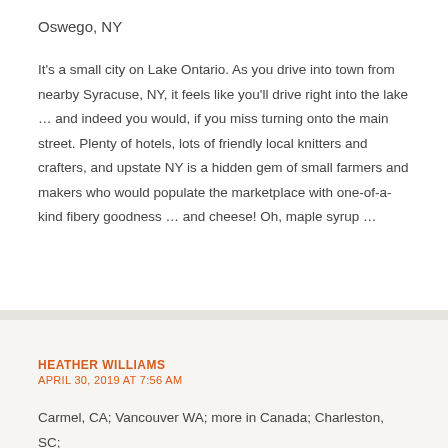Oswego, NY
It's a small city on Lake Ontario. As you drive into town from nearby Syracuse, NY, it feels like you'll drive right into the lake … and indeed you would, if you miss turning onto the main street. Plenty of hotels, lots of friendly local knitters and crafters, and upstate NY is a hidden gem of small farmers and makers who would populate the marketplace with one-of-a-kind fibery goodness … and cheese! Oh, maple syrup …
HEATHER WILLIAMS
APRIL 30, 2019 AT 7:56 AM
Carmel, CA; Vancouver WA; more in Canada; Charleston, SC; Charlottesville, VA